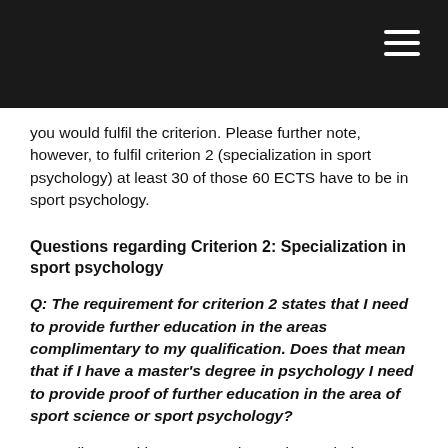you would fulfil the criterion. Please further note, however, to fulfil criterion 2 (specialization in sport psychology) at least 30 of those 60 ECTS have to be in sport psychology.
Questions regarding Criterion 2: Specialization in sport psychology
Q: The requirement for criterion 2 states that I need to provide further education in the areas complimentary to my qualification. Does that mean that if I have a master's degree in psychology I need to provide proof of further education in the area of sport science or sport psychology?
A: Applicants with a master's degree in psychology must indicate at least 30 ECTS/ 750 hours of specialization in sport science and/ or sport psychology. Applicants with a master's